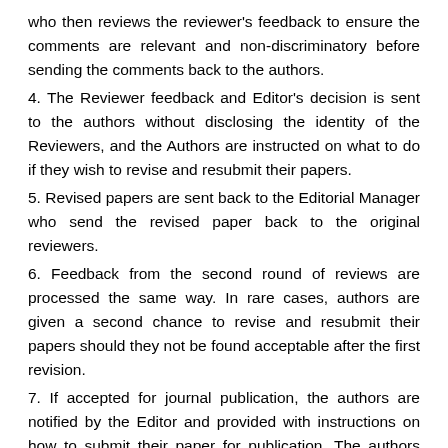who then reviews the reviewer's feedback to ensure the comments are relevant and non-discriminatory before sending the comments back to the authors.
4. The Reviewer feedback and Editor's decision is sent to the authors without disclosing the identity of the Reviewers, and the Authors are instructed on what to do if they wish to revise and resubmit their papers.
5. Revised papers are sent back to the Editorial Manager who send the revised paper back to the original reviewers.
6. Feedback from the second round of reviews are processed the same way. In rare cases, authors are given a second chance to revise and resubmit their papers should they not be found acceptable after the first revision.
7. If accepted for journal publication, the authors are notified by the Editor and provided with instructions on how to submit their paper for publication. The authors are mandated to use a professional proofreading and copyediting service by any English editing company of their choice from ten (10)